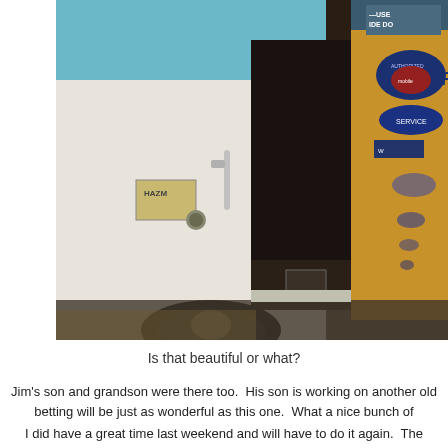[Figure (photo): A vintage van or bus with its side door open, showing interior with wooden paneling covered in retro service stickers (Authorized Service, USE SIDE DOOR, etc.). The exterior is white and light blue. Items visible inside the van.]
Is that beautiful or what?
Jim's son and grandson were there too.  His son is working on another old betting will be just as wonderful as this one.  What a nice bunch of
I did have a great time last weekend and will have to do it again.  The